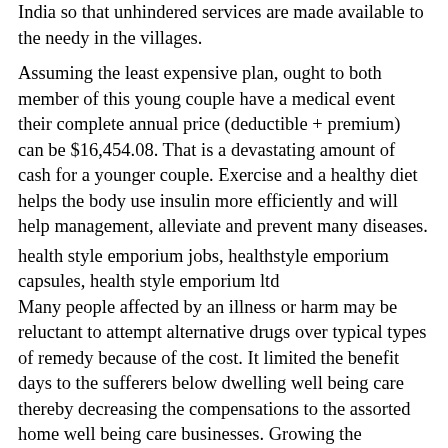India so that unhindered services are made available to the needy in the villages.
Assuming the least expensive plan, ought to both member of this young couple have a medical event their complete annual price (deductible + premium) can be $16,454.08. That is a devastating amount of cash for a younger couple. Exercise and a healthy diet helps the body use insulin more efficiently and will help management, alleviate and prevent many diseases.
health style emporium jobs, healthstyle emporium capsules, health style emporium ltd
Many people affected by an illness or harm may be reluctant to attempt alternative drugs over typical types of remedy because of the cost. It limited the benefit days to the sufferers below dwelling well being care thereby decreasing the compensations to the assorted home well being care businesses. Growing the consumption of wholesome foods is significant to good well being care. This the truth is was the commencement of affected person care vs. medical ethics